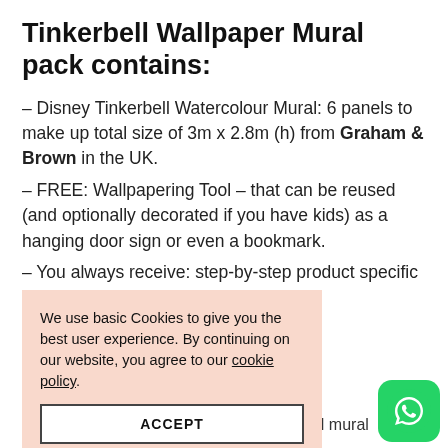Tinkerbell Wallpaper Mural pack contains:
– Disney Tinkerbell Watercolour Mural: 6 panels to make up total size of 3m x 2.8m (h) from Graham & Brown in the UK.
– FREE: Wallpapering Tool – that can be reused (and optionally decorated if you have kids) as a hanging door sign or even a bookmark.
– You always receive: step-by-step product specific
We use basic Cookies to give you the best user experience. By continuing on our website, you agree to our cookie policy.
ACCEPT
r Mural – atercolour
Disney's favourite fairy, Tinkerbell, this wall mural